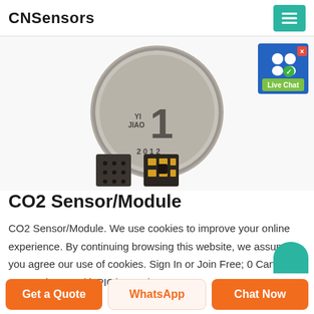CNSensors
[Figure (photo): Product photo showing a Chinese Yi Jiao 2012 coin next to two small CO2 sensor chips for size comparison. Two sensor chips shown below: one with dot grid pattern and one with gold contact pads.]
[Figure (other): Live Chat button widget with user icons and green background]
CO2 Sensor/Module
CO2 Sensor/Module. We use cookies to improve your online experience. By continuing browsing this website, we assume you agree our use of cookies. Sign In or Join Free; 0 Cart. All Categories. PIC/dsPIC/PIC32/PIC24